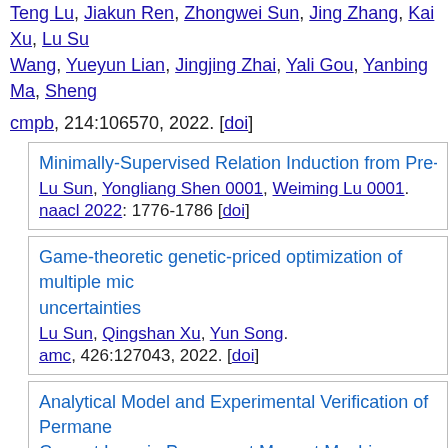Teng Lu, Jiakun Ren, Zhongwei Sun, Jing Zhang, Kai Xu, Lu Su Wang, Yueyun Lian, Jingjing Zhai, Yali Gou, Yanbing Ma, Sheng Baohui Yang.
cmpb, 214:106570, 2022. [doi]
Minimally-Supervised Relation Induction from Pre-trained L
Lu Sun, Yongliang Shen 0001, Weiming Lu 0001.
naacl 2022: 1776-1786 [doi]
Game-theoretic genetic-priced optimization of multiple mic uncertainties
Lu Sun, Qingshan Xu, Yun Song.
amc, 426:127043, 2022. [doi]
Analytical Model and Experimental Verification of Permane Current Loss in Permanent Magnet Machines With Noncond Poles
Wenming Tong, Lu Sun, Shengnan Wu, Mingjun Hou, Renyuan
tie, 69(9):8815-8824, 2022. [doi]